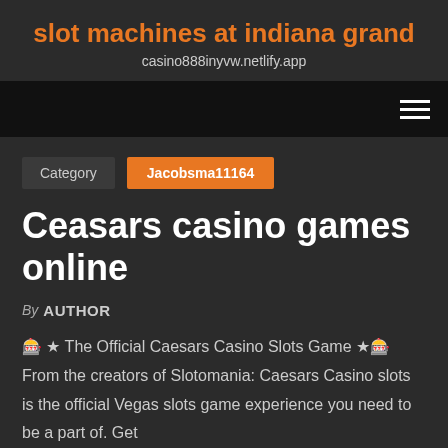slot machines at indiana grand
casino888inyvw.netlify.app
Category   Jacobsma11164
Ceasars casino games online
By AUTHOR
🎰 ★ The Official Caesars Casino Slots Game ★🎰 From the creators of Slotomania: Caesars Casino slots is the official Vegas slots game experience you need to be a part of. Get